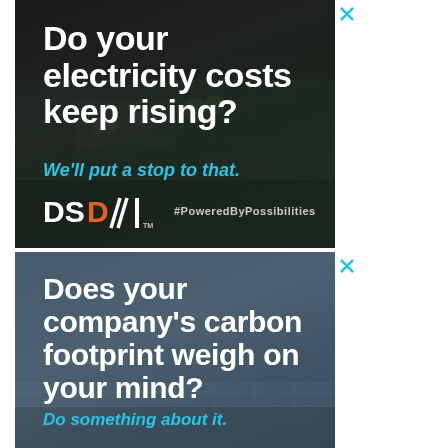[Figure (infographic): Advertisement 1: Dark aerial photo of solar panels on rooftops. White bold text reads 'Do your electricity costs keep rising?' with cyan italic text 'We'll put a stop to that.' DSD logo and #PoweredByPossibilities hashtag at bottom. Close X button top right.]
[Figure (infographic): Advertisement 2: Steel blue aerial photo of solar panels. White bold text reads 'Does your company's carbon footprint weigh on your mind?' with cyan italic text 'Do something about it.' Close X button top right.]